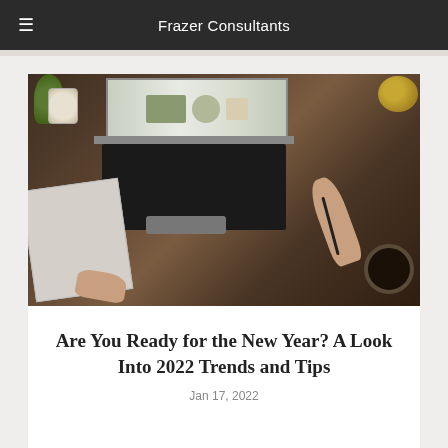Frazer Consultants
[Figure (photo): Overhead view of a person's hands at a wooden desk with an open laptop showing a website, a spiral notebook, a candle, a small plant, and a coffee cup]
Are You Ready for the New Year? A Look Into 2022 Trends and Tips
Jan 17, 2022